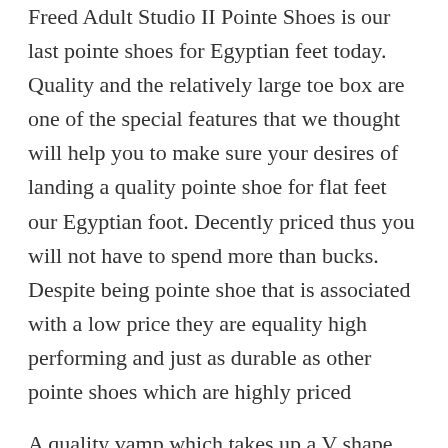Freed Adult Studio II Pointe Shoes is our last pointe shoes for Egyptian feet today. Quality and the relatively large toe box are one of the special features that we thought will help you to make sure your desires of landing a quality pointe shoe for flat feet our Egyptian foot. Decently priced thus you will not have to spend more than bucks. Despite being pointe shoe that is associated with a low price they are equality high performing and just as durable as other pointe shoes which are highly priced
A quality vamp which takes up a V shape ensure that narrow and wide foot is 100% compatible with Freed Adult Studio II Pointe Shoes. The flat profile ensure that dancers will have a 100% safe time when learning various dancing settle the sided sole of this shoe